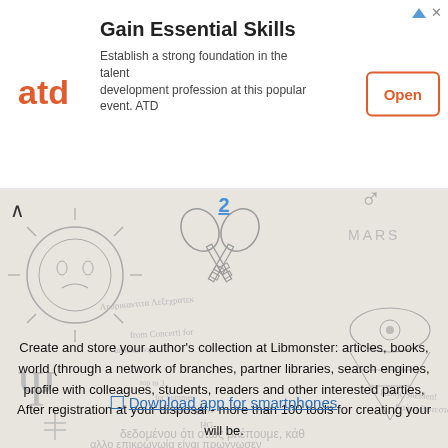[Figure (infographic): ATD advertisement banner with logo, title 'Gain Essential Skills', description text, and orange Open button]
Gain Essential Skills
Establish a strong foundation in the talent development profession at this popular event. ATD
[Figure (illustration): Decorative background with hand-drawn symbols: sun face, crossed keys, Mars symbol, all-seeing eye, psi symbol, Greek text, handwritten notes]
2
Create and store your author's collection at Libmonster: articles, books, world (through a network of branches, partner libraries, search engines, profile with colleagues, students, readers and other interested parties, After registration at your disposal - more than 100 tools for creating your will be.
Download app for smartphones